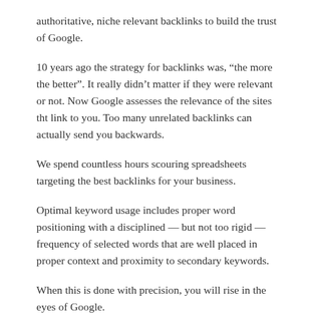authoritative, niche relevant backlinks to build the trust of Google.
10 years ago the strategy for backlinks was, “the more the better”. It really didn’t matter if they were relevant or not. Now Google assesses the relevance of the sites tht link to you. Too many unrelated backlinks can actually send you backwards.
We spend countless hours scouring spreadsheets targeting the best backlinks for your business.
Optimal keyword usage includes proper word positioning with a disciplined — but not too rigid — frequency of selected words that are well placed in proper context and proximity to secondary keywords.
When this is done with precision, you will rise in the eyes of Google.
What’s Trust Got To Do